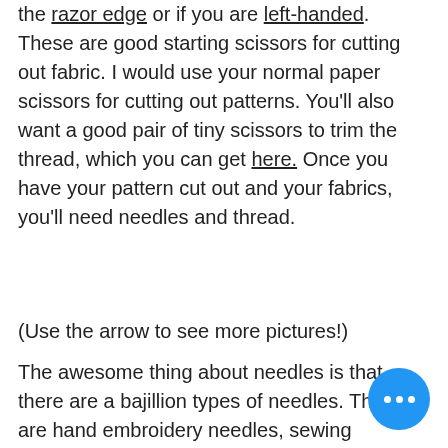the razor edge or if you are left-handed. These are good starting scissors for cutting out fabric. I would use your normal paper scissors for cutting out patterns. You'll also want a good pair of tiny scissors to trim the thread, which you can get here. Once you have your pattern cut out and your fabrics, you'll need needles and thread.
(Use the arrow to see more pictures!)
The awesome thing about needles is that there are a bajillion types of needles. There are hand embroidery needles, sewing needles, beading needles, but we're just going to talk about the basics. Sewing needles are